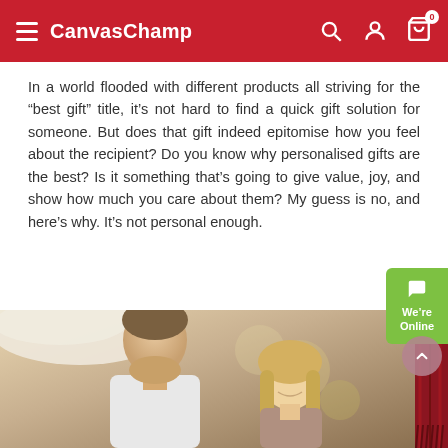CanvasChamp
In a world flooded with different products all striving for the “best gift” title, it’s not hard to find a quick gift solution for someone. But does that gift indeed epitomise how you feel about the recipient? Do you know why personalised gifts are the best? Is it something that’s going to give value, joy, and show how much you care about them? My guess is no, and here’s why. It’s not personal enough.
[Figure (photo): A man and woman smiling at each other in a festive/shopping setting with colourful blurred background, with red yarn/fabric visible on the right side.]